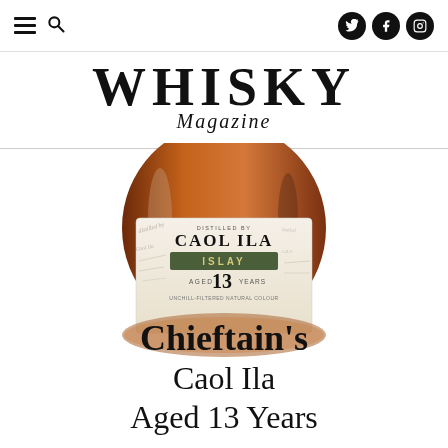Whisky Magazine navigation header with hamburger menu, search, and social icons (Twitter, Facebook, Instagram)
[Figure (logo): Whisky Magazine logo — large bold serif 'WHISKY' with italic script 'Magazine' beneath]
[Figure (photo): Close-up photo of Chieftain's Caol Ila Aged 13 Years whisky bottle showing label with 'CAOL ILA', 'ISLAY' on a dark green band, 'AGED 13 YEARS', 'UNCHILL-FILTERED NATURAL COLOUR']
Chieftain's
Caol Ila
Aged 13 Years